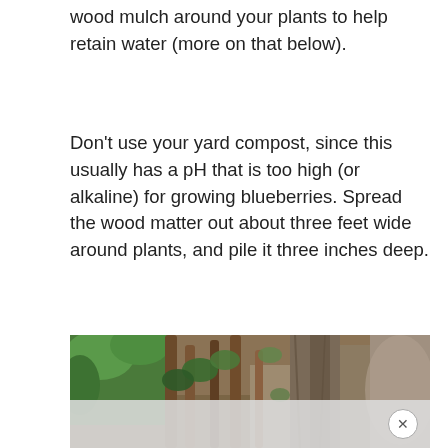wood mulch around your plants to help retain water (more on that below).
Don't use your yard compost, since this usually has a pH that is too high (or alkaline) for growing blueberries. Spread the wood matter out about three feet wide around plants, and pile it three inches deep.
[Figure (photo): Close-up photograph of blueberry plant stems and woody branches with green leaves, surrounded by mulch and soil on the ground.]